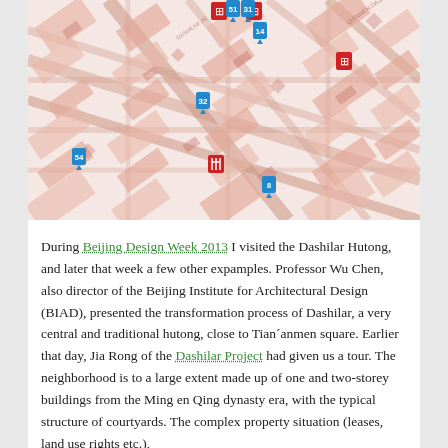[Figure (map): Street map of Dashilar Hutong area in Beijing, rendered in pinkish-red tones with building footprints and street grid shown. Several blue numbered map pins and red restaurant/food icons are overlaid on the map at various intersections and locations.]
During Beijing Design Week 2013 I visited the Dashilar Hutong, and later that week a few other expamples. Professor Wu Chen, also director of the Beijing Institute for Architectural Design (BIAD), presented the transformation process of Dashilar, a very central and traditional hutong, close to Tian´anmen square. Earlier that day, Jia Rong of the Dashilar Project had given us a tour. The neighborhood is to a large extent made up of one and two-storey buildings from the Ming en Qing dynasty era, with the typical structure of courtyards. The complex property situation (leases, land use rights etc.),